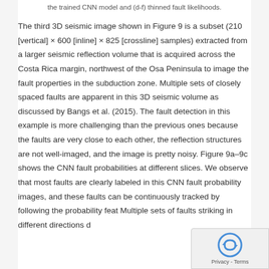the trained CNN model and (d-f) thinned fault likelihoods.
The third 3D seismic image shown in Figure 9 is a subset (210 [vertical] × 600 [inline] × 825 [crossline] samples) extracted from a larger seismic reflection volume that is acquired across the Costa Rica margin, northwest of the Osa Peninsula to image the fault properties in the subduction zone. Multiple sets of closely spaced faults are apparent in this 3D seismic volume as discussed by Bangs et al. (2015). The fault detection in this example is more challenging than the previous ones because the faults are very close to each other, the reflection structures are not well-imaged, and the image is pretty noisy. Figure 9a–9c shows the CNN fault probabilities at different slices. We observe that most faults are clearly labeled in this CNN fault probability images, and these faults can be continuously tracked by following the probability feat... Multiple sets of faults striking in different directions d...